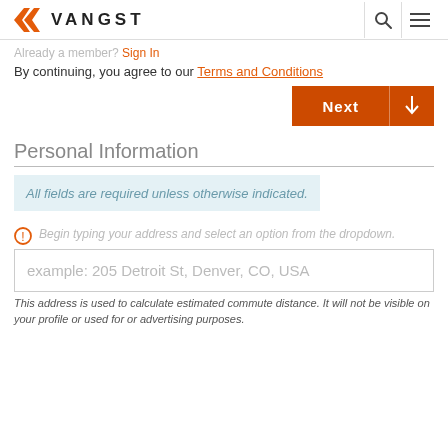VANGST
Already a member? Sign in
By continuing, you agree to our Terms and Conditions
Personal Information
All fields are required unless otherwise indicated.
Begin typing your address and select an option from the dropdown.
example: 205 Detroit St, Denver, CO, USA
This address is used to calculate estimated commute distance. It will not be visible on your profile or used for or advertising purposes.